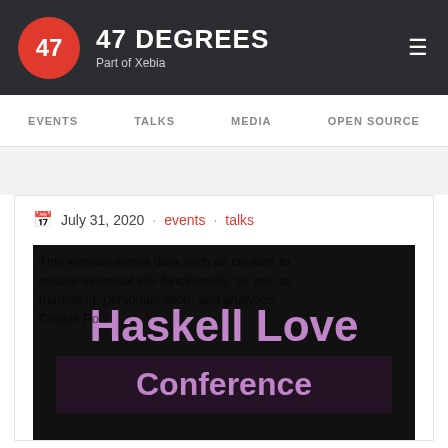47 DEGREES Part of Xebia
EVENTS
TALKS
MEDIA
OPEN SOURCE
July 31, 2020 · events · talks
[Figure (photo): Haskell Love Conference promotional banner with large purple text on dark background, overlaid with cookie consent notice text]